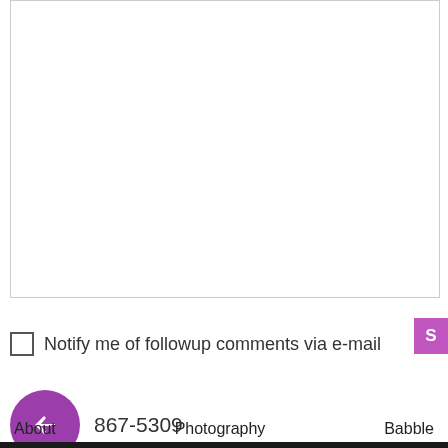[Figure (screenshot): Empty white textarea/comment input box with light gray border]
[Figure (screenshot): Purple submit button with letter S visible at right edge]
Notify me of followup comments via e-mail
[Figure (screenshot): Purple circle with white left-arrow icon (back navigation button) next to text '867-5309']
[Figure (screenshot): Yellow-green decorative dot pattern bar]
About   Photography   Babble
[Figure (screenshot): Footer ad bar: cookies for kid cancer charity ad with 'your HOBBY is their HOPE' text, social media icons, close button]